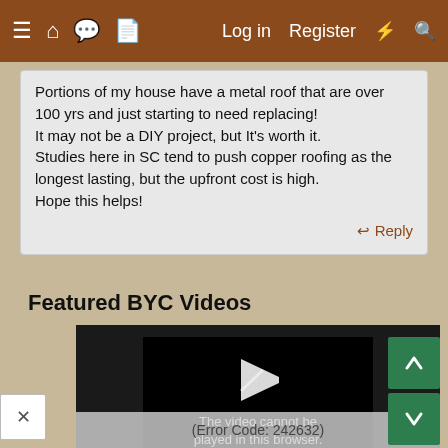≡ 🏠 💬 📄  Log in  Register  ⚡ 🔍
Portions of my house have a metal roof that are over 100 yrs and just starting to need replacing!
It may not be a DIY project, but It's worth it.
Studies here in SC tend to push copper roofing as the longest lasting, but the upfront cost is high.
Hope this helps!
↩ Reply
Featured BYC Videos
[Figure (screenshot): Embedded video player showing a play button icon with error message: 'The video cannot be played in this browser.' and error code '(Error Code: 242632)']